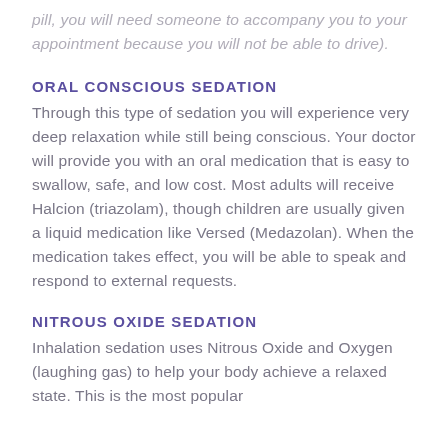pill, you will need someone to accompany you to your appointment because you will not be able to drive).
ORAL CONSCIOUS SEDATION
Through this type of sedation you will experience very deep relaxation while still being conscious. Your doctor will provide you with an oral medication that is easy to swallow, safe, and low cost. Most adults will receive Halcion (triazolam), though children are usually given a liquid medication like Versed (Medazolan). When the medication takes effect, you will be able to speak and respond to external requests.
NITROUS OXIDE SEDATION
Inhalation sedation uses Nitrous Oxide and Oxygen (laughing gas) to help your body achieve a relaxed state. This is the most popular